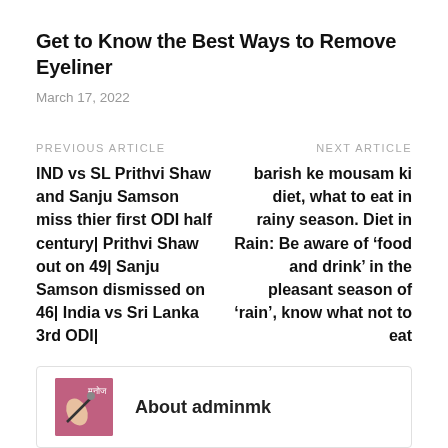Get to Know the Best Ways to Remove Eyeliner
March 17, 2022
PREVIOUS ARTICLE
IND vs SL Prithvi Shaw and Sanju Samson miss thier first ODI half century| Prithvi Shaw out on 49| Sanju Samson dismissed on 46| India vs Sri Lanka 3rd ODI|
NEXT ARTICLE
barish ke mousam ki diet, what to eat in rainy season. Diet in Rain: Be aware of ‘food and drink’ in the pleasant season of ‘rain’, know what not to eat
About adminmk